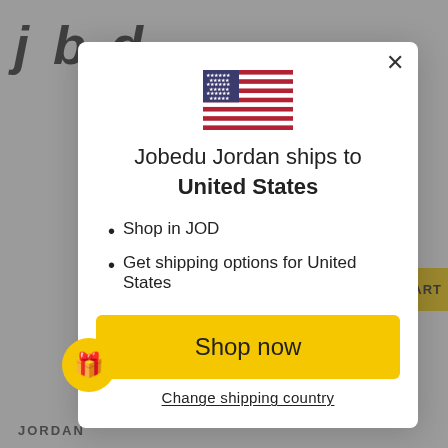[Figure (screenshot): Website modal dialog for Jobedu Jordan shipping region selection. Background shows a gray website with partial logo letters 'j', 'b', 'd' and a yellow cart button. In the foreground, a white modal popup contains a US flag SVG, a heading 'Jobedu Jordan ships to United States', two bullet points listing shop currency and shipping options, a yellow 'Shop now' button, and a 'Change shipping country' text link. A yellow circular gift icon appears at the bottom-left.]